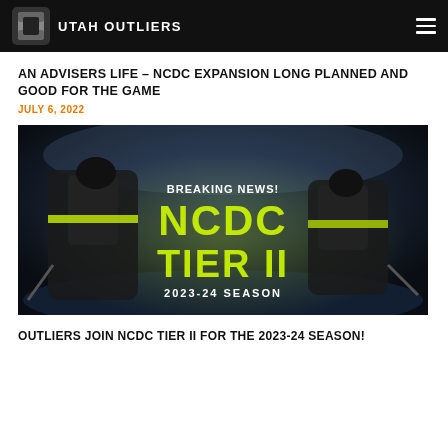UTAH OUTLIERS
AN ADVISERS LIFE – NCDC EXPANSION LONG PLANNED AND GOOD FOR THE GAME
JULY 6, 2022
[Figure (photo): Hockey promotional image with two players in black and yellow Outliers uniforms on an ice rink. Center text reads 'BREAKING NEWS! NCDC TIER II 2023-24 SEASON' in large illuminated letters.]
OUTLIERS JOIN NCDC TIER II FOR THE 2023-24 SEASON!